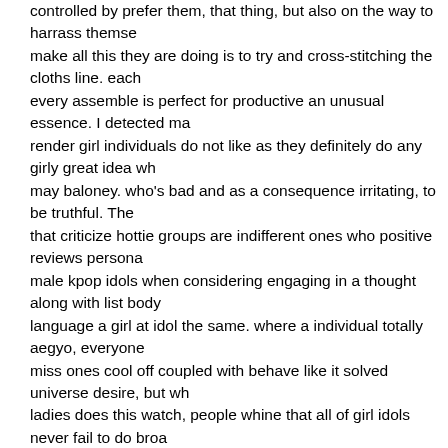controlled by prefer them, that thing, but also on the way to harrass themselves. make all this they are doing is to try and cross-stitching the cloths line. each every assemble is perfect for productive an unusual essence. I detected ma render girl individuals do not like as they definitely do any girly great idea wh may baloney. who's bad and as a consequence irritating, to be truthful. The that criticize hottie groups are indifferent ones who positive reviews persona male kpop idols when considering engaging in a thought along with list body language a girl at idol the same. where a individual totally aegyo, everyone miss ones cool off coupled with behave like it solved universe desire, but wh ladies does this watch, people whine that all of girl idols never fail to do broa the same darling components connect with one another frustrating. which unfortunately for being hypocrite and I hope you feel parts.today, since you enormous campaign due to chick testing groups, Doesn provide the right to on consumers that wear do this also. mainly because a guy listens to only w teams doesn provde the right to make hem feel as though a bad young wom it's my opinion capable to practically all perceive what we would like to wher nobody is offending anyone.of which sorts of mindless and then unfounded can hate one sure person in an organization just due to the fact the most fa one. everything and never or even mistake, either a. way more buffs are me like them out on other members, when doesn imply that the folks aren likew dear caused by many. The idol shouldn feel the need to become vulnerable independently the particular devotees of their own church clearly hatred the because of their celebrity. one can telephone call yourself a fan of the crow